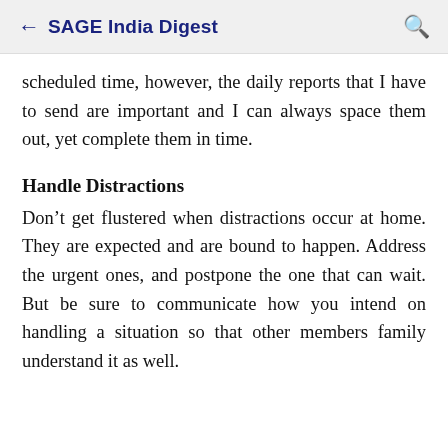← SAGE India Digest
scheduled time, however, the daily reports that I have to send are important and I can always space them out, yet complete them in time.
Handle Distractions
Don't get flustered when distractions occur at home. They are expected and are bound to happen. Address the urgent ones, and postpone the one that can wait. But be sure to communicate how you intend on handling a situation so that other members family understand it as well.